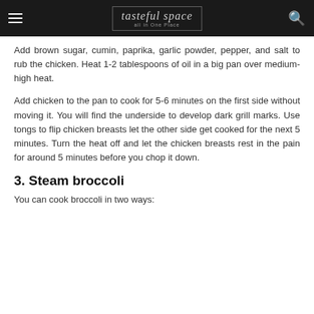tasteful space — all in One Place
Add brown sugar, cumin, paprika, garlic powder, pepper, and salt to rub the chicken. Heat 1-2 tablespoons of oil in a big pan over medium-high heat.
Add chicken to the pan to cook for 5-6 minutes on the first side without moving it. You will find the underside to develop dark grill marks. Use tongs to flip chicken breasts let the other side get cooked for the next 5 minutes. Turn the heat off and let the chicken breasts rest in the pain for around 5 minutes before you chop it down.
3. Steam broccoli
You can cook broccoli in two ways: